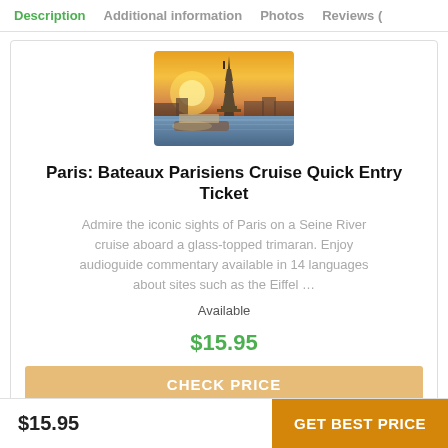Description | Additional information | Photos | Reviews (
[Figure (photo): Photo of the Eiffel Tower at sunset with the Seine River and boats in the foreground, warm golden-orange sky.]
Paris: Bateaux Parisiens Cruise Quick Entry Ticket
Admire the iconic sights of Paris on a Seine River cruise aboard a glass-topped trimaran. Enjoy audioguide commentary available in 14 languages about sites such as the Eiffel ...
Available
$15.95
CHECK PRICE
$15.95  GET BEST PRICE